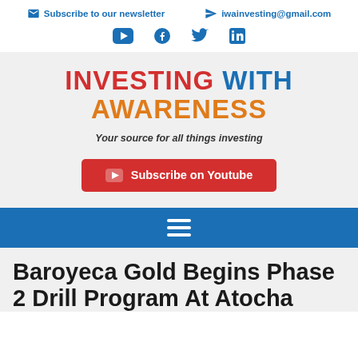Subscribe to our newsletter   iwainvesting@gmail.com
[Figure (infographic): Social media icons: YouTube, Facebook, Twitter, LinkedIn in blue]
INVESTING WITH AWARENESS
Your source for all things investing
Subscribe on Youtube
[Figure (infographic): Blue navigation bar with hamburger menu icon]
Baroyeca Gold Begins Phase 2 Drill Program At Atocha